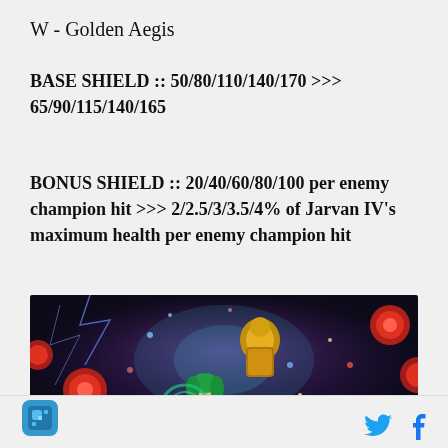W - Golden Aegis
BASE SHIELD :: 50/80/110/140/170 >>> 65/90/115/140/165
BONUS SHIELD :: 20/40/60/80/100 per enemy champion hit >>> 2/2.5/3/3.5/4% of Jarvan IV's maximum health per enemy champion hit
+++
[Figure (illustration): Game artwork showing fantasy characters including a female character with green hair and a golden armored figure, with red orb effects against a dark purple/space background]
App icon (blue square with game symbol) | Twitter bird icon | Facebook f icon